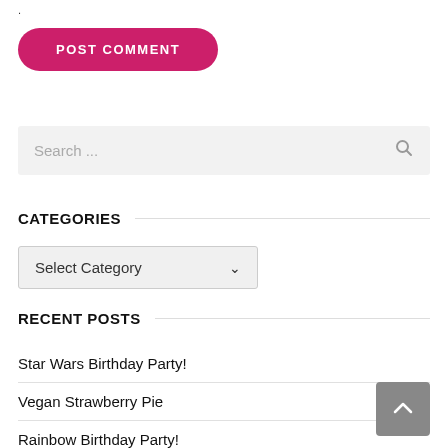.
POST COMMENT
Search ...
CATEGORIES
Select Category
RECENT POSTS
Star Wars Birthday Party!
Vegan Strawberry Pie
Rainbow Birthday Party!
Vegan Neapolitan Birthday Cake